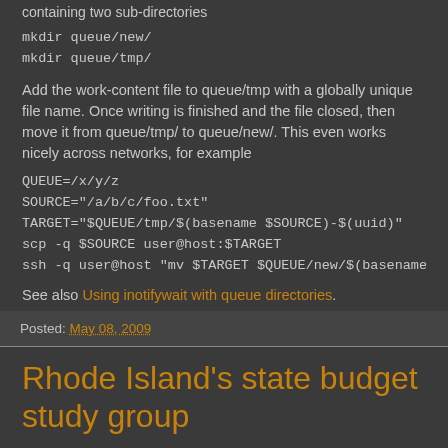containing two sub-directories
mkdir queue/new/
mkdir queue/tmp/
Add the work-content file to queue/tmp with a globally unique file name. Once writing is finished and the file closed, then move it from queue/tmp/ to queue/new/. This even works nicely across networks, for example
QUEUE=/x/y/z
SOURCE="/a/b/c/foo.txt"
TARGET="$QUEUE/tmp/$(basename $SOURCE)-$(uuid)"
scp -q $SOURCE user@host:$TARGET
ssh -q user@host "mv $TARGET $QUEUE/new/$(basename $SOUF
See also Using inotifywait with queue directories.
Posted: May 08, 2009
Rhode Island's state budget study group